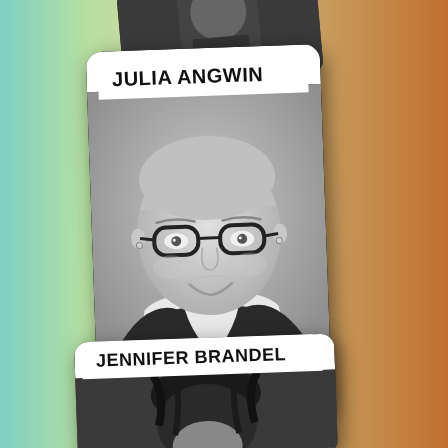[Figure (photo): Colorful gradient background (teal/green/orange) with stacked ID/trading cards featuring headshots and names of speakers/personalities. Top card partially visible with dark background. Main card features Julia Angwin in black-and-white portrait photo with glasses. Below is another card with Jennifer Brandel name tag and partial dark-haired photo.]
JULIA ANGWIN
JENNIFER BRANDEL